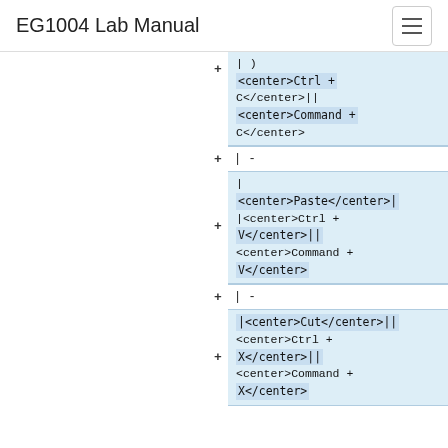EG1004 Lab Manual
<center>Ctrl + C</center>|| <center>Command + C</center>
|-
| <center>Paste</center>| |<center>Ctrl + V</center>|| <center>Command + V</center>
|-
|<center>Cut</center>|| <center>Ctrl + X</center>|| <center>Command + X</center>